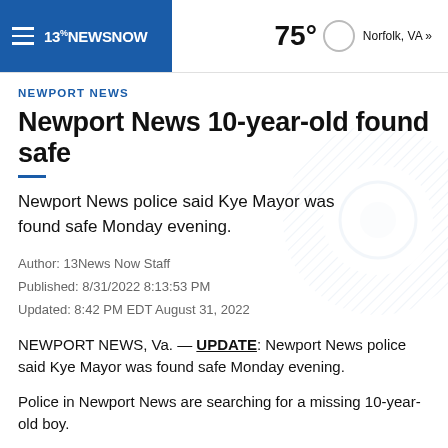13NewsNow | 75° Norfolk, VA »
NEWPORT NEWS
Newport News 10-year-old found safe
Newport News police said Kye Mayor was found safe Monday evening.
Author: 13News Now Staff
Published: 8/31/2022 8:13:53 PM
Updated: 8:42 PM EDT August 31, 2022
NEWPORT NEWS, Va. — UPDATE: Newport News police said Kye Mayor was found safe Monday evening.
Police in Newport News are searching for a missing 10-year-old boy.
Police said Kye Mayor was last seen at his home on Gamble